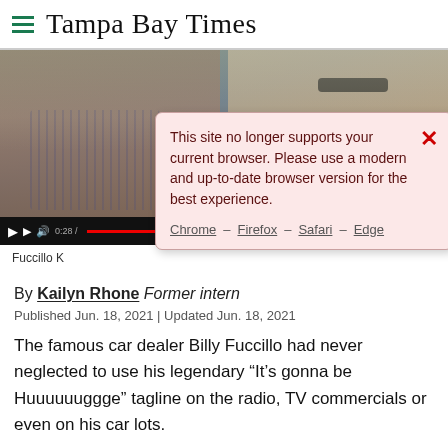Tampa Bay Times
[Figure (screenshot): Video player showing two people (a man in a striped shirt and a woman with sunglasses) with video playback controls at the bottom. A browser compatibility warning dialog overlays the video reading: 'This site no longer supports your current browser. Please use a modern and up-to-date browser version for the best experience.' with links to Chrome, Firefox, Safari, Edge.]
Fuccillo K...
By Kailyn Rhone Former intern
Published Jun. 18, 2021 | Updated Jun. 18, 2021
The famous car dealer Billy Fuccillo had never neglected to use his legendary “It’s gonna be Huuuuuuggge” tagline on the radio, TV commercials or even on his car lots.